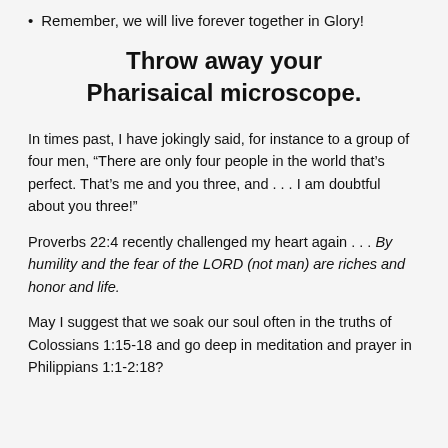Remember, we will live forever together in Glory!
Throw away your Pharisaical microscope.
In times past, I have jokingly said, for instance to a group of four men, “There are only four people in the world that’s perfect. That’s me and you three, and . . . I am doubtful about you three!”
Proverbs 22:4 recently challenged my heart again . . . By humility and the fear of the LORD (not man) are riches and honor and life.
May I suggest that we soak our soul often in the truths of Colossians 1:15-18 and go deep in meditation and prayer in Philippians 1:1-2:18?